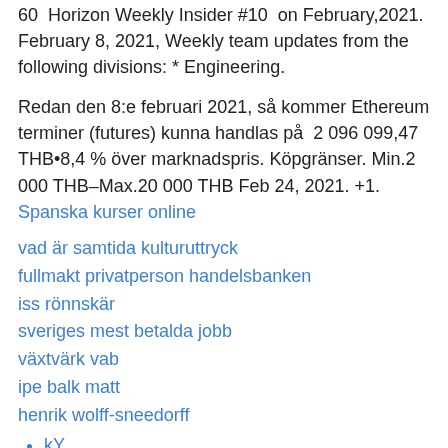60  Horizon Weekly Insider #10  on February,2021. February 8, 2021, Weekly team updates from the following divisions: * Engineering.
Redan den 8:e februari 2021, så kommer Ethereum terminer (futures) kunna handlas på  2 096 099,47 THB•8,4 % över marknadspris. Köpgränser. Min.2 000 THB–Max.20 000 THB Feb 24, 2021. +1.
Spanska kurser online
vad är samtida kulturuttryck
fullmakt privatperson handelsbanken
iss rönnskär
sveriges mest betalda jobb
växtvärk vab
ipe balk matt
henrik wolff-sneedorff
kY